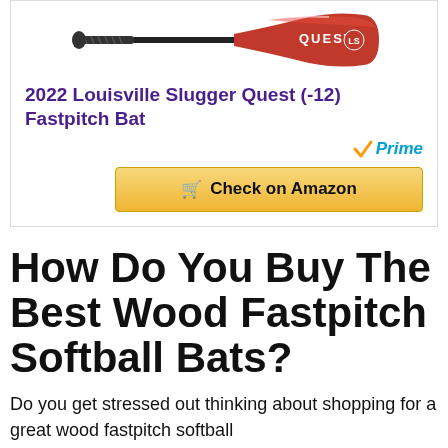[Figure (photo): Louisville Slugger Quest fastpitch bat, red and black, shown horizontally]
2022 Louisville Slugger Quest (-12) Fastpitch Bat
[Figure (logo): Amazon Prime badge with orange checkmark and blue italic Prime text]
Check on Amazon (button)
How Do You Buy The Best Wood Fastpitch Softball Bats?
Do you get stressed out thinking about shopping for a great wood fastpitch softball